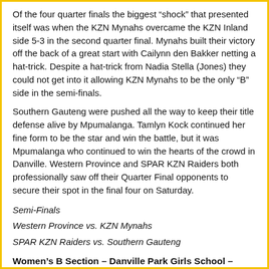Of the four quarter finals the biggest “shock” that presented itself was when the KZN Mynahs overcame the KZN Inland side 5-3 in the second quarter final. Mynahs built their victory off the back of a great start with Cailynn den Bakker netting a hat-trick. Despite a hat-trick from Nadia Stella (Jones) they could not get into it allowing KZN Mynahs to be the only “B” side in the semi-finals.
Southern Gauteng were pushed all the way to keep their title defense alive by Mpumalanga. Tamlyn Kock continued her fine form to be the star and win the battle, but it was Mpumalanga who continued to win the hearts of the crowd in Danville. Western Province and SPAR KZN Raiders both professionally saw off their Quarter Final opponents to secure their spot in the final four on Saturday.
Semi-Finals
Western Province vs. KZN Mynahs
SPAR KZN Raiders vs. Southern Gauteng
Women’s B Section – Danville Park Girls School – Durban North
Eastern Province and Free State both overturned the favourites tags by